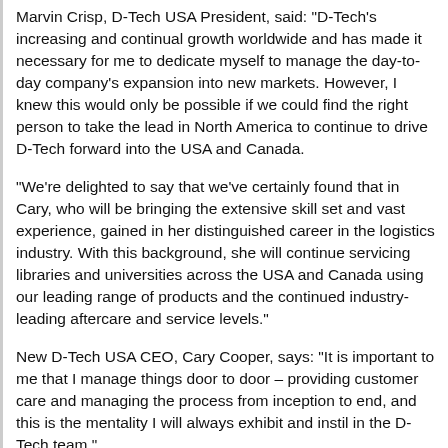Marvin Crisp, D-Tech USA President, said: "D-Tech's increasing and continual growth worldwide and has made it necessary for me to dedicate myself to manage the day-to-day company's expansion into new markets. However, I knew this would only be possible if we could find the right person to take the lead in North America to continue to drive D-Tech forward into the USA and Canada.
"We're delighted to say that we've certainly found that in Cary, who will be bringing the extensive skill set and vast experience, gained in her distinguished career in the logistics industry. With this background, she will continue servicing libraries and universities across the USA and Canada using our leading range of products and the continued industry-leading aftercare and service levels."
New D-Tech USA CEO, Cary Cooper, says: "It is important to me that I manage things door to door – providing customer care and managing the process from inception to end, and this is the mentality I will always exhibit and instil in the D-Tech team."
New D-Tech US CEO Cary CooperCary arrives at D-Tech with